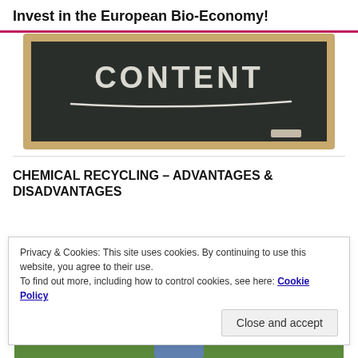Invest in the European Bio-Economy!
[Figure (photo): Chalkboard with the word CONTENT written in chalk, with a chalk underline beneath it. The chalkboard has a wooden frame.]
CHEMICAL RECYCLING – ADVANTAGES & DISADVANTAGES
Privacy & Cookies: This site uses cookies. By continuing to use this website, you agree to their use.
To find out more, including how to control cookies, see here: Cookie Policy
Close and accept
[Figure (screenshot): YouTube video thumbnail showing a man outdoors on green grass, with a red YouTube play button overlay in the center.]